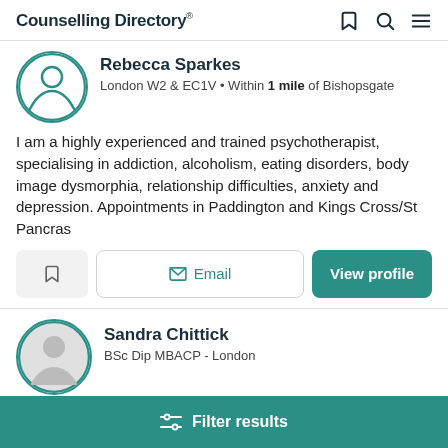Counselling Directory
Rebecca Sparkes
London W2 & EC1V • Within 1 mile of Bishopsgate
I am a highly experienced and trained psychotherapist, specialising in addiction, alcoholism, eating disorders, body image dysmorphia, relationship difficulties, anxiety and depression. Appointments in Paddington and Kings Cross/St Pancras
Sandra Chittick
BSc Dip MBACP - London
Filter results